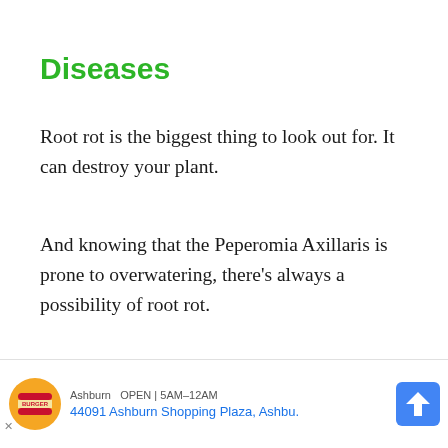Diseases
Root rot is the biggest thing to look out for. It can destroy your plant.
And knowing that the Peperomia Axillaris is prone to overwatering, there’s always a possibility of root rot.
As such, it is important to be mindful of when you water and how you water. Additionally, make sure to use well-draining potting soil and a pot with
[Figure (other): Burger King advertisement banner showing logo, store address '44091 Ashburn Shopping Plaza, Ashbu.' with navigation arrow icon and close button]